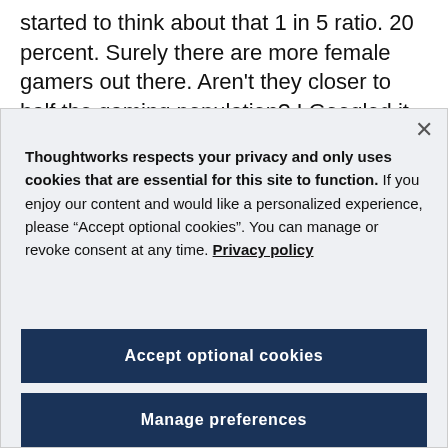started to think about that 1 in 5 ratio. 20 percent. Surely there are more female gamers out there. Aren't they closer to half the gaming population? I Googled it. Yep. They are.
Thoughtworks respects your privacy and only uses cookies that are essential for this site to function. If you enjoy our content and would like a personalized experience, please “Accept optional cookies”. You can manage or revoke consent at any time. Privacy policy
Accept optional cookies
Manage preferences